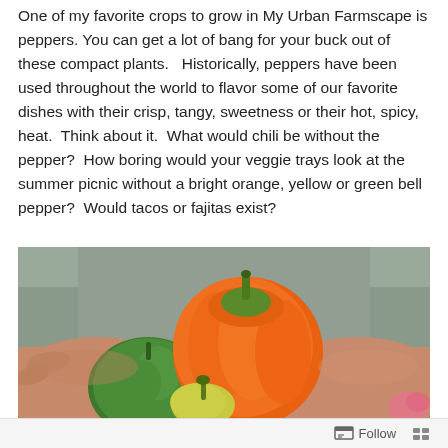One of my favorite crops to grow in My Urban Farmscape is peppers. You can get a lot of bang for your buck out of these compact plants.   Historically, peppers have been used throughout the world to flavor some of our favorite dishes with their crisp, tangy, sweetness or their hot, spicy, heat.  Think about it.  What would chili be without the pepper?  How boring would your veggie trays look at the summer picnic without a bright orange, yellow or green bell pepper?  Would tacos or fajitas exist?
[Figure (photo): Hands holding several peppers including a large orange bell pepper, a green bell pepper, and a small yellow-green pepper, against a grey background.]
Follow